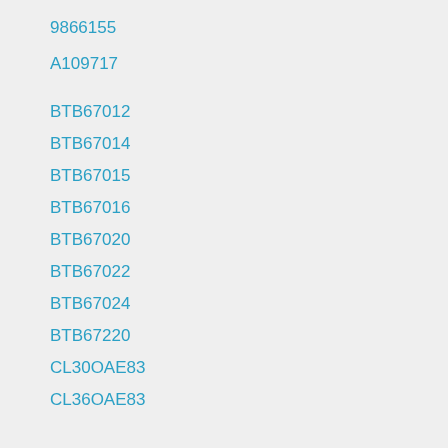9866155
A109717
BTB67012
BTB67014
BTB67015
BTB67016
BTB67020
BTB67022
BTB67024
BTB67220
CL30OAE83
CL36OAE83